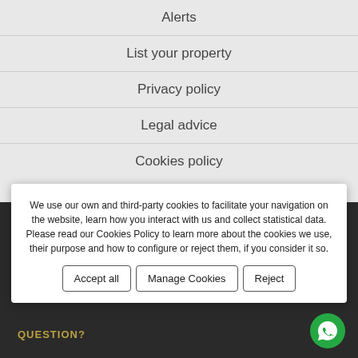Alerts
List your property
Privacy policy
Legal advice
Cookies policy
María Ángeles Martínez Clemente
info@mmpropiedades.eu
https://www.mmpropiedades.eu
We use our own and third-party cookies to facilitate your navigation on the website, learn how you interact with us and collect statistical data. Please read our Cookies Policy to learn more about the cookies we use, their purpose and how to configure or reject them, if you consider it so.
Accept all
Manage Cookies
Reject
QUESTION?